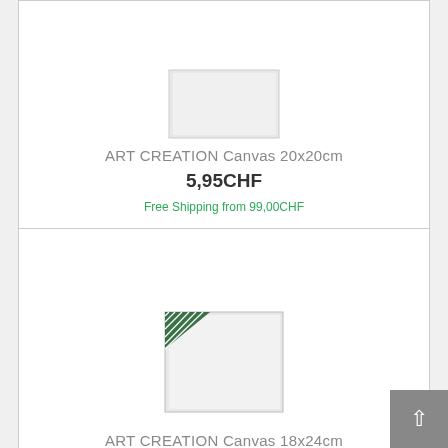[Figure (photo): ART CREATION Canvas 20x20cm product photo - white square canvas panel]
ART CREATION Canvas 20x20cm
5,95CHF
Free Shipping from 99,00CHF
[Figure (photo): ART CREATION Canvas 18x24cm product photo - white canvas with green/dark corner branding]
ART CREATION Canvas 18x24cm